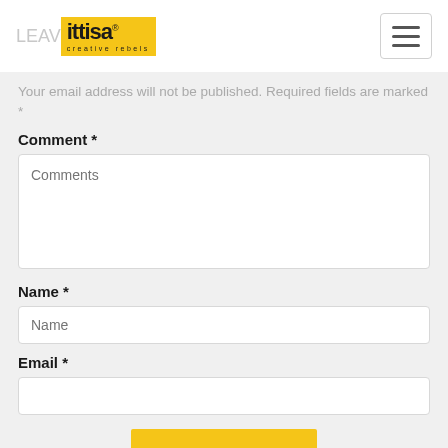LEAV ittisa creative rebels
Your email address will not be published. Required fields are marked *
Comment *
Name *
Email *
SUBMIT